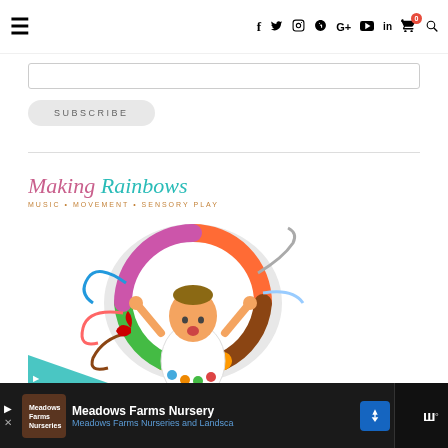Navigation bar with hamburger menu and social/nav icons: f, twitter, instagram, pinterest, G+, youtube, linkedin, cart(0), search
[Figure (screenshot): Subscribe input field (text box)]
SUBSCRIBE
[Figure (logo): Making Rainbows logo - Music Movement Sensory Play, with baby holding colorful ring]
Meadows Farms Nursery - Meadows Farms Nurseries and Landscape - advertisement banner